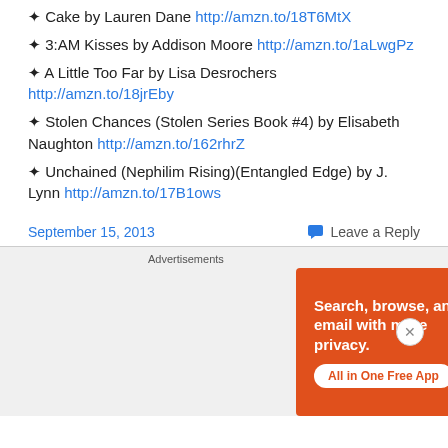✦ Cake by Lauren Dane http://amzn.to/18T6MtX
✦ 3:AM Kisses by Addison Moore http://amzn.to/1aLwgPz
✦ A Little Too Far by Lisa Desrochers http://amzn.to/18jrEby
✦ Stolen Chances (Stolen Series Book #4) by Elisabeth Naughton http://amzn.to/162rhrZ
✦ Unchained (Nephilim Rising)(Entangled Edge) by J. Lynn http://amzn.to/17B1ows
September 15, 2013    Leave a Reply
[Figure (screenshot): DuckDuckGo advertisement banner: orange background with phone mockup. Text reads 'Search, browse, and email with more privacy. All in One Free App'. DuckDuckGo logo and branding shown on phone screen.]